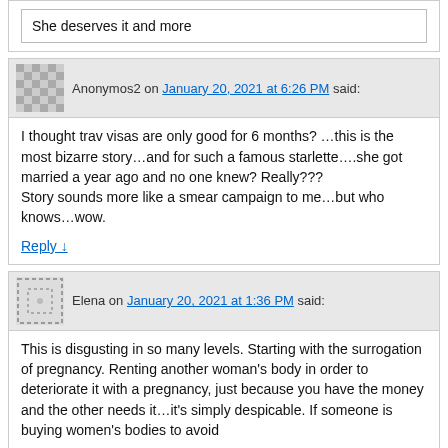She deserves it and more
Anonymos2 on January 20, 2021 at 6:26 PM said:
I thought trav visas are only good for 6 months? …this is the most bizarre story…and for such a famous starlette….she got married a year ago and no one knew? Really???
Story sounds more like a smear campaign to me…but who knows…wow.
Reply ↓
Elena on January 20, 2021 at 1:36 PM said:
This is disgusting in so many levels. Starting with the surrogation of pregnancy. Renting another woman's body in order to deteriorate it with a pregnancy, just because you have the money and the other needs it…it's simply despicable. If someone is buying women's bodies to avoid